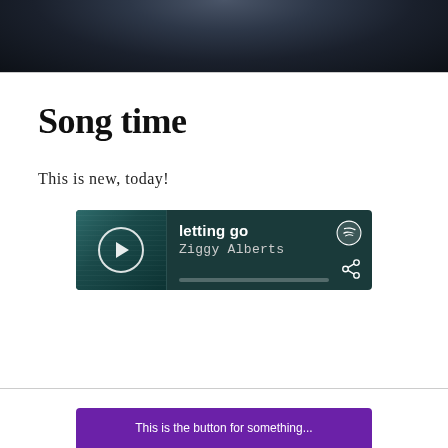[Figure (photo): Dark photo banner at top of page showing a person partially visible, dark tones with blue-grey hues]
Song time
This is new, today!
[Figure (screenshot): Spotify embed widget showing track 'letting go' by Ziggy Alberts with a play button, progress bar, Spotify logo, and share icon on a dark teal background]
[Figure (other): Purple banner partially visible at the bottom of the page]